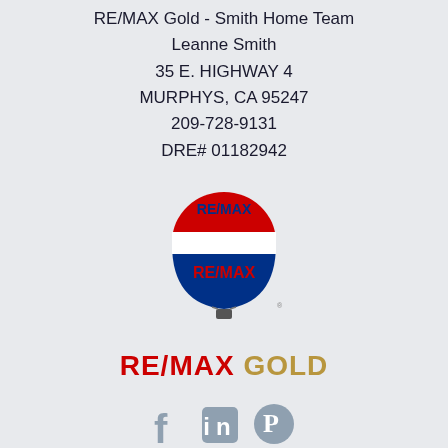RE/MAX Gold - Smith Home Team
Leanne Smith
35 E. HIGHWAY 4
MURPHYS, CA 95247
209-728-9131
DRE# 01182942
[Figure (logo): RE/MAX hot air balloon logo with RE/MAX GOLD wordmark below]
[Figure (infographic): Social media icons: Facebook, LinkedIn, Pinterest in gray-blue color]
Menu
HOME